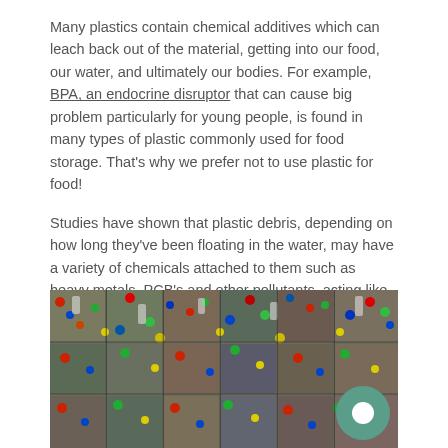Many plastics contain chemical additives which can leach back out of the material, getting into our food, our water, and ultimately our bodies. For example, BPA, an endocrine disruptor that can cause big problem particularly for young people, is found in many types of plastic commonly used for food storage. That's why we prefer not to use plastic for food!
Studies have shown that plastic debris, depending on how long they've been floating in the water, may have a variety of chemicals attached to them such as heavy metals, PCB's and other pollutants, acting like pollution sponges. Once fish absorb these chemicals from ingested plastic, the chemicals are then free to enter the bodies of anything higher up on the food chain, including us.
[Figure (photo): Photograph of compressed bales of colorful mixed plastic bottles and containers for recycling.]